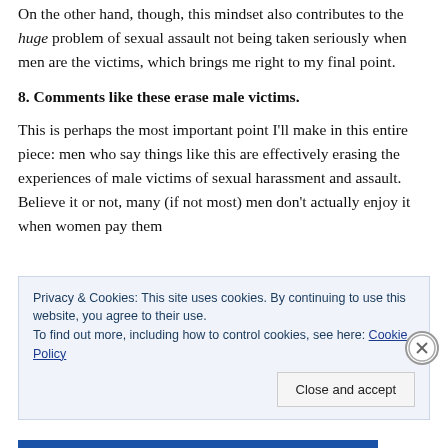On the other hand, though, this mindset also contributes to the huge problem of sexual assault not being taken seriously when men are the victims, which brings me right to my final point.
8. Comments like these erase male victims.
This is perhaps the most important point I'll make in this entire piece: men who say things like this are effectively erasing the experiences of male victims of sexual harassment and assault. Believe it or not, many (if not most) men don't actually enjoy it when women pay them
Privacy & Cookies: This site uses cookies. By continuing to use this website, you agree to their use.
To find out more, including how to control cookies, see here: Cookie Policy